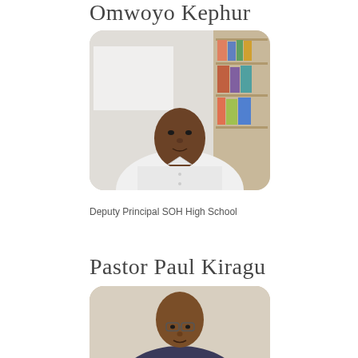Omwoyo Kephur
[Figure (photo): Portrait photo of Omwoyo Kephur, a man in a white shirt seated in an office with files/binders visible in the background]
Deputy Principal SOH High School
Pastor Paul Kiragu
[Figure (photo): Portrait photo of Pastor Paul Kiragu, partially visible, showing head and upper body, man wearing glasses]